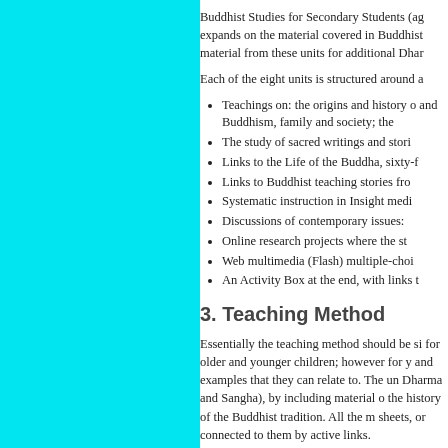[Figure (other): Cyan/turquoise colored bar on the left side of the page]
Buddhist Studies for Secondary Students (ag expands on the material covered in Buddhist material from these units for additional Dhar
Each of the eight units is structured around a
Teachings on: the origins and history o and Buddhism, family and society; the
The study of sacred writings and stori
Links to the Life of the Buddha, sixty-f
Links to Buddhist teaching stories fro
Systematic instruction in Insight medi
Discussions of contemporary issues:
Online research projects where the st
Web multimedia (Flash) multiple-choi
An Activity Box at the end, with links t
3. Teaching Method
Essentially the teaching method should be si for older and younger children; however for y and examples that they can relate to. The un Dharma and Sangha), by including material o the history of the Buddhist tradition. All the m sheets, or connected to them by active links.
4. Classes